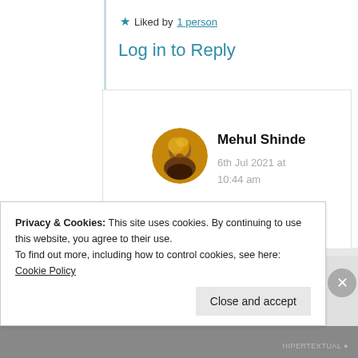★ Liked by 1 person
Log in to Reply
[Figure (photo): Round avatar photo of Mehul Shinde, a person with a beard, with warm brown/gold tones]
Mehul Shinde
6th Jul 2021 at 10:44 am
Pleasure is all mine. Do
Privacy & Cookies: This site uses cookies. By continuing to use this website, you agree to their use.
To find out more, including how to control cookies, see here: Cookie Policy
Close and accept